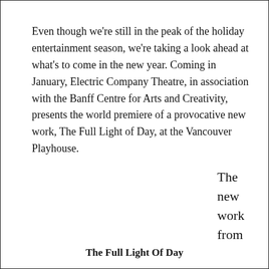Even though we're still in the peak of the holiday entertainment season, we're taking a look ahead at what's to come in the new year. Coming in January, Electric Company Theatre, in association with the Banff Centre for Arts and Creativity, presents the world premiere of a provocative new work, The Full Light of Day, at the Vancouver Playhouse.
The new work from
The Full Light Of Day